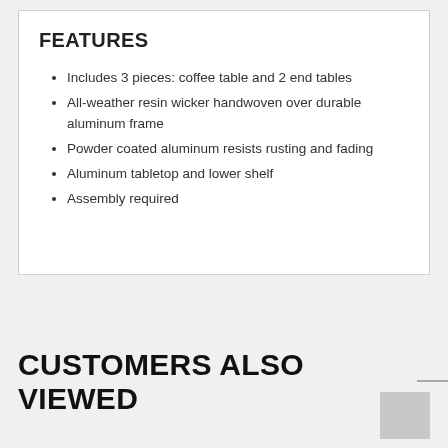FEATURES
Includes 3 pieces: coffee table and 2 end tables
All-weather resin wicker handwoven over durable aluminum frame
Powder coated aluminum resists rusting and fading
Aluminum tabletop and lower shelf
Assembly required
CUSTOMERS ALSO VIEWED
[Figure (photo): Thumbnail image placeholder (gray square)]